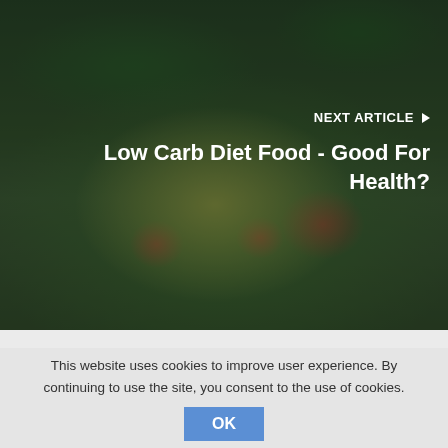[Figure (photo): A photo of a salad plate with greens, yellow croutons/fritters, cherry tomatoes, and microgreens, overlaid with a dark semi-transparent overlay. Text overlay reads 'NEXT ARTICLE ▶' and 'Low Carb Diet Food - Good For Health?']
Low Carb Diet Food - Good For Health?
Search
This website uses cookies to improve user experience. By continuing to use the site, you consent to the use of cookies.